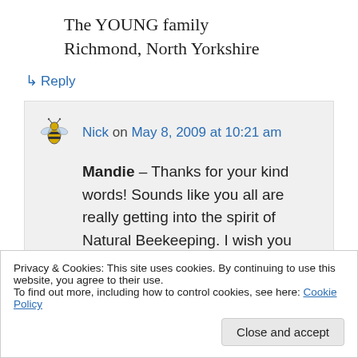The YOUNG family
Richmond, North Yorkshire
↳ Reply
Nick on May 8, 2009 at 10:21 am
Mandie – Thanks for your kind words! Sounds like you all are really getting into the spirit of Natural Beekeeping. I wish you good luck for your first year of beekeeping
Privacy & Cookies: This site uses cookies. By continuing to use this website, you agree to their use.
To find out more, including how to control cookies, see here: Cookie Policy